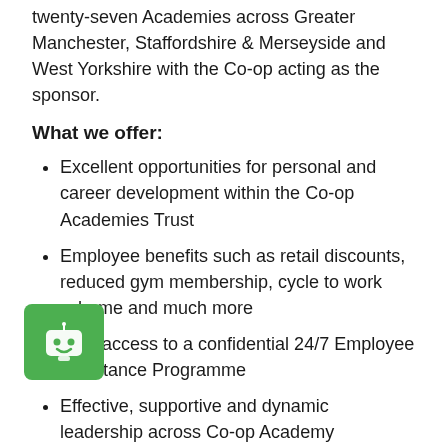twenty-seven Academies across Greater Manchester, Staffordshire & Merseyside and West Yorkshire with the Co-op acting as the sponsor.
What we offer:
Excellent opportunities for personal and career development within the Co-op Academies Trust
Employee benefits such as retail discounts, reduced gym membership, cycle to work scheme and much more
Free access to a confidential 24/7 Employee Assistance Programme
Effective, supportive and dynamic leadership across Co-op Academy Southfield
A superb, school building with a flexible and creative approach working environment
Enthusiastic students who are keen to make good progress
[Figure (illustration): Green chatbot/robot icon badge in bottom left corner]